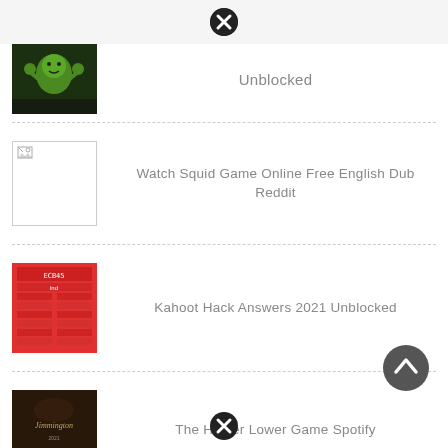[Figure (other): Close/dismiss button (X circle) at top center]
Unblocked
[Figure (photo): Thumbnail image of green character with arms raised on dark background]
[Figure (other): Broken image placeholder thumbnail]
Watch Squid Game Online Free English Dub Reddit
[Figure (photo): Red thumbnail with Kahoot-style answer grid showing ECB45 and colored rows]
Kahoot Hack Answers 2021 Unblocked
[Figure (photo): Dark movie poster thumbnail with 'Jimmington' text]
The Higher Lower Game Spotify
[Figure (other): Scroll to top button (arrow up in dark circle) at bottom right]
[Figure (other): Close/dismiss button (X circle) at bottom center]